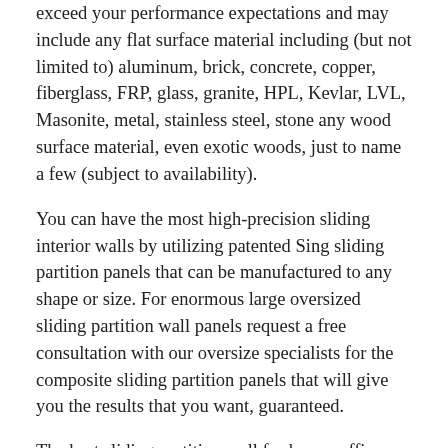exceed your performance expectations and may include any flat surface material including (but not limited to) aluminum, brick, concrete, copper, fiberglass, FRP, glass, granite, HPL, Kevlar, LVL, Masonite, metal, stainless steel, stone any wood surface material, even exotic woods, just to name a few (subject to availability).
You can have the most high-precision sliding interior walls by utilizing patented Sing sliding partition panels that can be manufactured to any shape or size. For enormous large oversized sliding partition wall panels request a free consultation with our oversize specialists for the composite sliding partition panels that will give you the results that you want, guaranteed.
The best sliding partition wall for home, office, hotel or gallery is clearly the Sing sliding dividing wall system that is